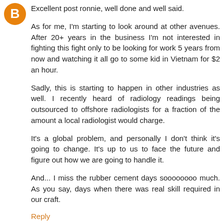[Figure (logo): Blogger orange circle avatar icon with white B letter]
Excellent post ronnie, well done and well said.
As for me, I'm starting to look around at other avenues. After 20+ years in the business I'm not interested in fighting this fight only to be looking for work 5 years from now and watching it all go to some kid in Vietnam for $2 an hour.
Sadly, this is starting to happen in other industries as well. I recently heard of radiology readings being outsourced to offshore radiologists for a fraction of the amount a local radiologist would charge.
It's a global problem, and personally I don't think it's going to change. It's up to us to face the future and figure out how we are going to handle it.
And... I miss the rubber cement days soooooooo much. As you say, days when there was real skill required in our craft.
Reply